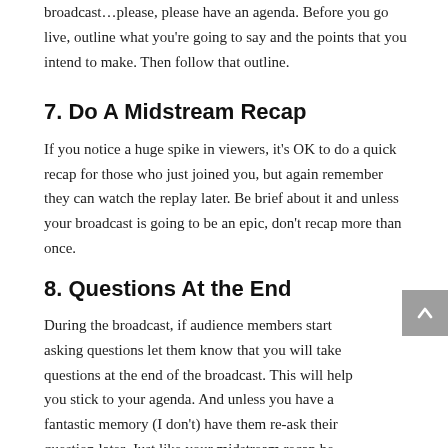broadcast…please, please have an agenda. Before you go live, outline what you're going to say and the points that you intend to make. Then follow that outline.
7. Do A Midstream Recap
If you notice a huge spike in viewers, it's OK to do a quick recap for those who just joined you, but again remember they can watch the replay later. Be brief about it and unless your broadcast is going to be an epic, don't recap more than once.
8. Questions At the End
During the broadcast, if audience members start asking questions let them know that you will take questions at the end of the broadcast. This will help you stick to your agenda. And unless you have a fantastic memory (I don't) have them re-ask their question later. Just like your midstream recap be brief and get on with the task at hand.
9. Leave Them Wanting More